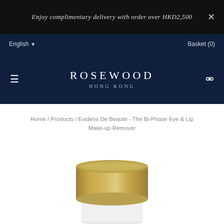Enjoy complimentary delivery with order over HKD2,500
English ▾
Basket (0)
ROSEWOOD HONG KONG
Home / Products / Evidens De Beaute - The Bi-Phase Eye & Lip Make-up Remover
[Figure (photo): A gold/brass cylindrical container (makeup remover jar) with a white base, photographed on a white background.]